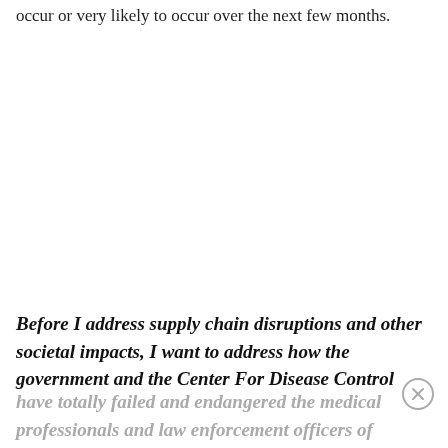occur or very likely to occur over the next few months.
Before I address supply chain disruptions and other societal impacts, I want to address how the government and the Center For Disease Control have totally failed and endangered the medical professionals and law enforcement officers of the